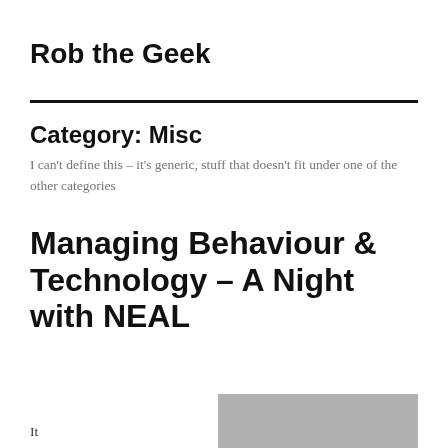Rob the Geek
Category: Misc
I can't define this – it's generic, stuff that doesn't fit under one of the other categories
Managing Behaviour & Technology – A Night with NEAL
It